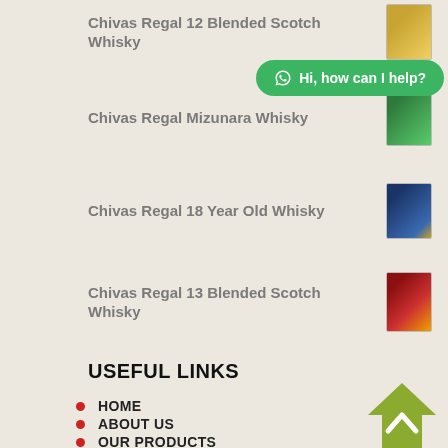Chivas Regal 12 Blended Scotch Whisky
Chivas Regal Mizunara Whisky
Chivas Regal 18 Year Old Whisky
Chivas Regal 13 Blended Scotch Whisky
[Figure (other): WhatsApp chat bubble with text: Hi, how can I help?]
USEFUL LINKS
HOME
ABOUT US
OUR PRODUCTS
ENERGY DRINK
CHAMPAGNE
SPIRIT
WHISKEY
[Figure (other): Back to top arrow button, house-shaped green icon with white chevron]